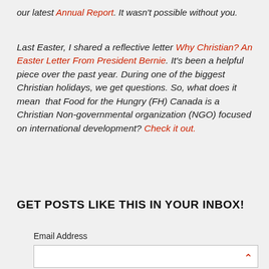our latest Annual Report. It wasn't possible without you.
Last Easter, I shared a reflective letter Why Christian? An Easter Letter From President Bernie. It's been a helpful piece over the past year. During one of the biggest Christian holidays, we get questions. So, what does it mean that Food for the Hungry (FH) Canada is a Christian Non-governmental organization (NGO) focused on international development? Check it out.
GET POSTS LIKE THIS IN YOUR INBOX!
Email Address